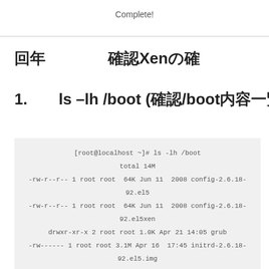Complete!
第２　　　　確認Xenの確
1.　　ls –lh /boot (確認/boot内容一覧)
[root@localhost ~]# ls -lh /boot
total 14M
-rw-r--r-- 1 root root  64K Jun 11  2008 config-2.6.18-92.el5
-rw-r--r-- 1 root root  64K Jun 11  2008 config-2.6.18-92.el5xen
drwxr-xr-x 2 root root 1.0K Apr 21 14:05 grub
-rw------ 1 root root 3.1M Apr 16  17:45 initrd-2.6.18-92.el5.img